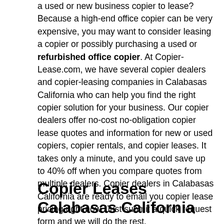a used or new business copier to lease? Because a high-end office copier can be very expensive, you may want to consider leasing a copier or possibly purchasing a used or refurbished office copier. At Copier-Lease.com, we have several copier dealers and copier-leasing companies in Calabasas California who can help you find the right copier solution for your business. Our copier dealers offer no-cost no-obligation copier lease quotes and information for new or used copiers, copier rentals, and copier leases. It takes only a minute, and you could save up to 40% off when you compare quotes from multiple dealers. Copier dealers in Calabasas California are ready to email you copier lease pricing right now. Just submit a quick request form and we will do the rest.
Copier Leases Calabasas California